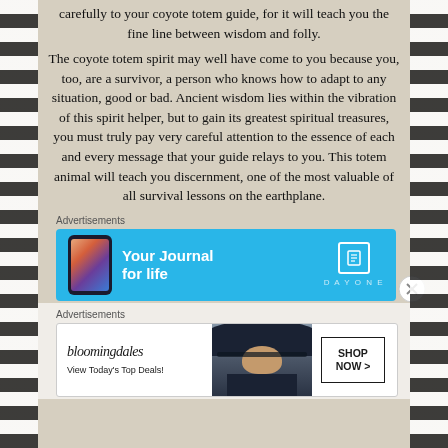carefully to your coyote totem guide, for it will teach you the fine line between wisdom and folly.
The coyote totem spirit may well have come to you because you, too, are a survivor, a person who knows how to adapt to any situation, good or bad. Ancient wisdom lies within the vibration of this spirit helper, but to gain its greatest spiritual treasures, you must truly pay very careful attention to the essence of each and every message that your guide relays to you. This totem animal will teach you discernment, one of the most valuable of all survival lessons on the earthplane.
Advertisements
[Figure (infographic): Blue advertisement banner for DayOne journal app, showing a phone graphic on the left, 'Your Journal for life' text in white, and the DayOne logo on the right.]
Advertisements
[Figure (infographic): Bloomingdale's advertisement banner showing logo, 'View Today's Top Deals!' text, a model with a wide-brim hat, and a 'SHOP NOW >' button.]